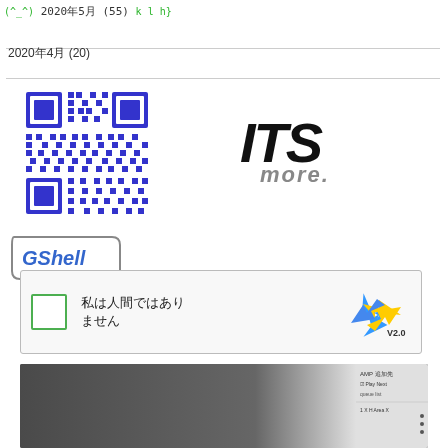(^_^)2020年5月 (55) k l h}
2020年4月 (20)
[Figure (other): Blue QR code]
[Figure (logo): ITS more. logo in black/gray italic bold text]
[Figure (logo): GShell logo in speech bubble with blue italic text]
[Figure (other): reCAPTCHA V2.0 widget - checkbox with text 私は人間ではありません and recaptcha arrow logo]
[Figure (screenshot): Video thumbnail showing U-tube logo and I love ROFL III title, with sidebar UI]